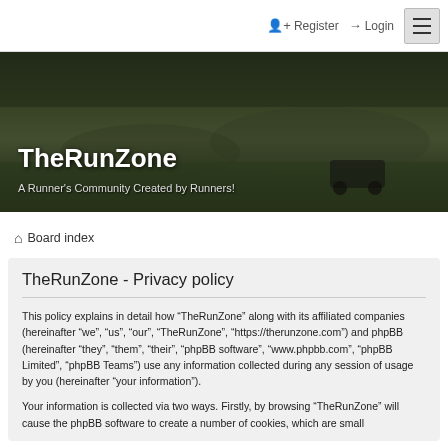Register  Login
[Figure (photo): Banner image showing a running event/race in a park with crowd of runners and spectators, trees in background. Overlaid with site title and subtitle.]
TheRunZone
A Runner's Community Created by Runners!
Board index
TheRunZone - Privacy policy
This policy explains in detail how “TheRunZone” along with its affiliated companies (hereinafter “we”, “us”, “our”, “TheRunZone”, “https://therunzone.com”) and phpBB (hereinafter “they”, “them”, “their”, “phpBB software”, “www.phpbb.com”, “phpBB Limited”, “phpBB Teams”) use any information collected during any session of usage by you (hereinafter “your information”).
Your information is collected via two ways. Firstly, by browsing “TheRunZone” will cause the phpBB software to create a number of cookies, which are small